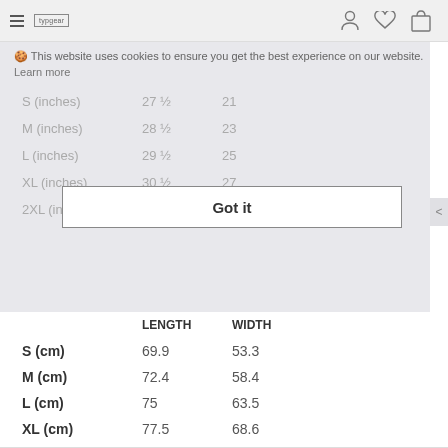typgear [nav bar with hamburger menu, user icon, heart icon, bag icon]
🍪 This website uses cookies to ensure you get the best experience on our website. Learn more
|  | LENGTH | WIDTH |
| --- | --- | --- |
| S (inches) | 27 ½ | 21 |
| M (inches) | 28 ½ | 23 |
| L (inches) | 29 ½ | 25 |
| XL (inches) | 30 ½ | 27 |
| 2XL (inches) | 31 ½ | 29 |
Got it
|  | LENGTH | WIDTH |
| --- | --- | --- |
| S (cm) | 69.9 | 53.3 |
| M (cm) | 72.4 | 58.4 |
| L (cm) | 75 | 63.5 |
| XL (cm) | 77.5 | 68.6 |
| 2XL (cm) | 80 | 73.7 |